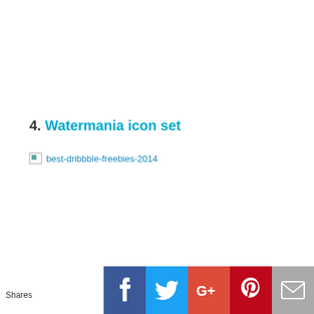4. Watermania icon set
[Figure (other): Broken image placeholder with alt text 'best-dribbble-freebies-2014']
Shares [Facebook] [Twitter] [Google+] [Pinterest] [Email] [Crown]